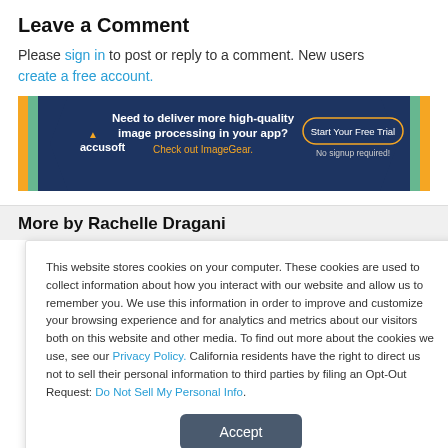Leave a Comment
Please sign in to post or reply to a comment. New users create a free account.
[Figure (infographic): Accusoft advertisement banner: dark blue background with chevron design. Text: 'Need to deliver more high-quality image processing in your app? Check out ImageGear.' Button: 'Start Your Free Trial'. Subtext: 'No signup required!']
More by Rachelle Dragani
This website stores cookies on your computer. These cookies are used to collect information about how you interact with our website and allow us to remember you. We use this information in order to improve and customize your browsing experience and for analytics and metrics about our visitors both on this website and other media. To find out more about the cookies we use, see our Privacy Policy. California residents have the right to direct us not to sell their personal information to third parties by filing an Opt-Out Request: Do Not Sell My Personal Info.